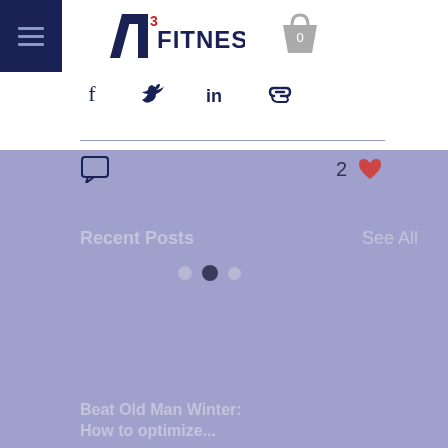P3 FITNESS - navigation header with menu button and shopping cart
[Figure (screenshot): Social share icons: Facebook, Twitter, LinkedIn, link/chain icon]
[Figure (screenshot): Comment icon on left, like count '2' with heart icon on right]
Recent Posts
See All
[Figure (infographic): Three pagination dots: light, dark (selected), light]
Beat Old Man Winter: How to optimize...